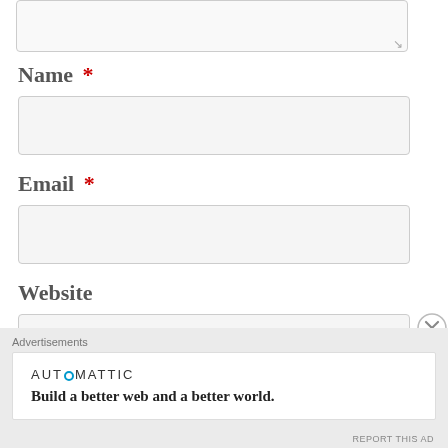[Figure (screenshot): Textarea input box (partially visible at top) with resize handle in bottom-right corner]
Name *
[Figure (screenshot): Empty text input box for Name field]
Email *
[Figure (screenshot): Empty text input box for Email field]
Website
[Figure (screenshot): Partially visible empty text input box for Website field]
Advertisements
[Figure (screenshot): Automattic advertisement banner reading: AUTOMATTIC - Build a better web and a better world.]